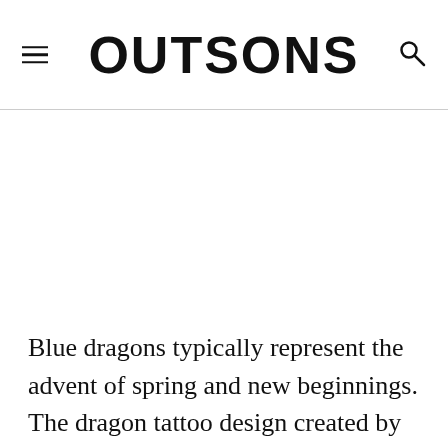OUTSONS
[Figure (photo): Image placeholder area (white/blank) below the navigation header]
Blue dragons typically represent the advent of spring and new beginnings. The dragon tattoo design created by this tattoo artist is filled with creativity. The tattoo has been created with fine details and perfect color tones. If you are heading